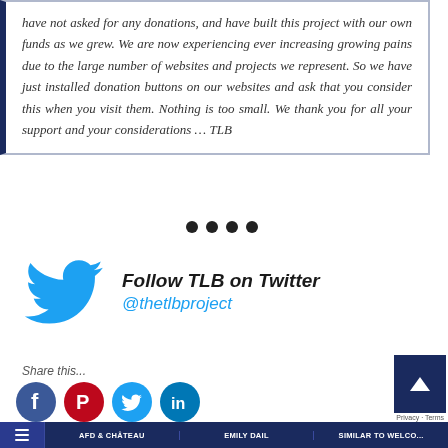have not asked for any donations, and have built this project with our own funds as we grew. We are now experiencing ever increasing growing pains due to the large number of websites and projects we represent. So we have just installed donation buttons on our websites and ask that you consider this when you visit them. Nothing is too small. We thank you for all your support and your considerations ... TLB
[Figure (illustration): Four black dots separator]
[Figure (logo): Twitter bird logo in blue, followed by bold italic text 'Follow TLB on Twitter' and blue italic handle '@thetlbproject']
Share this...
[Figure (illustration): Social share icons: Facebook (blue circle with f), Pinterest (red circle with P), Twitter (teal circle with bird), LinkedIn (teal circle with in)]
| AFD & CHÂTEAU | EMILY DAIL | SIMILAR TO WELCO...